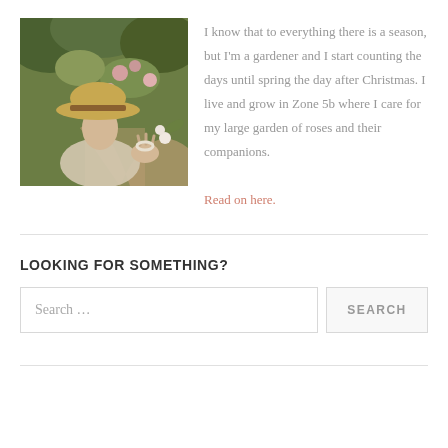[Figure (photo): Person wearing a wide-brim hat in a garden with roses and greenery]
I know that to everything there is a season, but I'm a gardener and I start counting the days until spring the day after Christmas. I live and grow in Zone 5b where I care for my large garden of roses and their companions. Read on here.
LOOKING FOR SOMETHING?
Search …